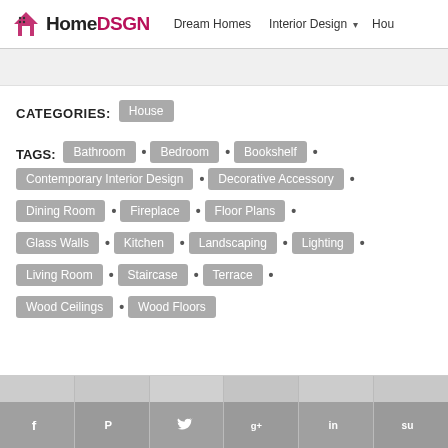HomeDSGN — Dream Homes  Interior Design  Hou
CATEGORIES: House
TAGS: Bathroom • Bedroom • Bookshelf • Contemporary Interior Design • Decorative Accessory • Dining Room • Fireplace • Floor Plans • Glass Walls • Kitchen • Landscaping • Lighting • Living Room • Staircase • Terrace • Wood Ceilings • Wood Floors